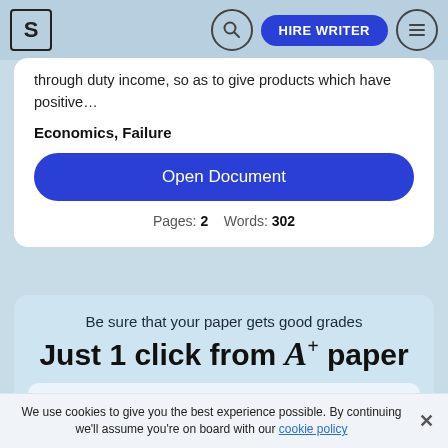S | [search] HIRE WRITER [menu]
through duty income, so as to give products which have positive…
Economics, Failure
Open Document
Pages: 2   Words: 302
Be sure that your paper gets good grades
Just 1 click from A+ paper
We use cookies to give you the best experience possible. By continuing we'll assume you're on board with our cookie policy